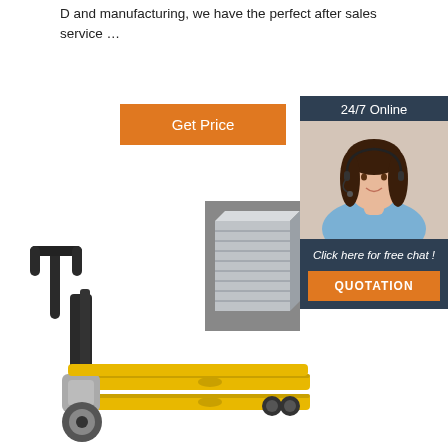D and manufacturing, we have the perfect after sales service …
[Figure (other): Orange 'Get Price' button]
[Figure (other): 24/7 Online chat widget with female agent wearing headset, dark background, 'Click here for free chat!' text, and orange QUOTATION button]
[Figure (photo): Stacked metal sheets corner view]
[Figure (photo): Yellow pallet truck / hand pallet jack on white background]